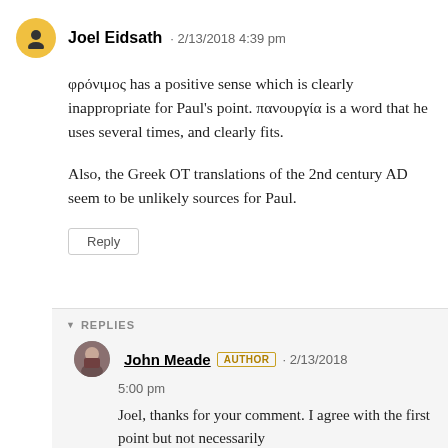Joel Eidsath · 2/13/2018 4:39 pm
φρόνιμος has a positive sense which is clearly inappropriate for Paul's point. πανουργία is a word that he uses several times, and clearly fits.
Also, the Greek OT translations of the 2nd century AD seem to be unlikely sources for Paul.
Reply
REPLIES
John Meade AUTHOR · 2/13/2018 5:00 pm
Joel, thanks for your comment. I agree with the first point but not necessarily